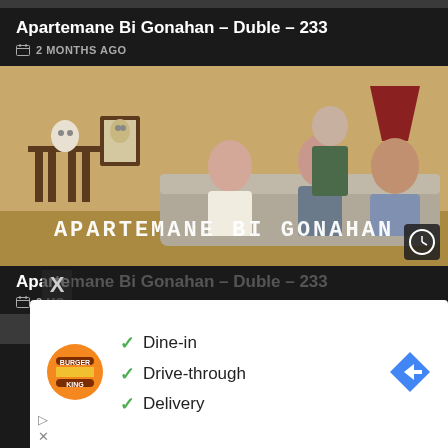Apartemane Bi Gonahan – Duble – 233
2 MONTHS AGO
[Figure (screenshot): Thumbnail image from Turkish TV show 'Apartemane Bi Gonahan' showing several actors seated/standing in an apartment interior. Text overlay reads 'APARTEMANE BI GONAHAN'. Clock/watch-later icon in bottom right corner.]
Apartemane Bi Gonahan – Duble – ...
2 MONTHS AGO
[Figure (screenshot): Burger King advertisement overlay with checkmarks listing: Dine-in, Drive-through, Delivery. Burger King logo on left, Google Maps direction arrow on right.]